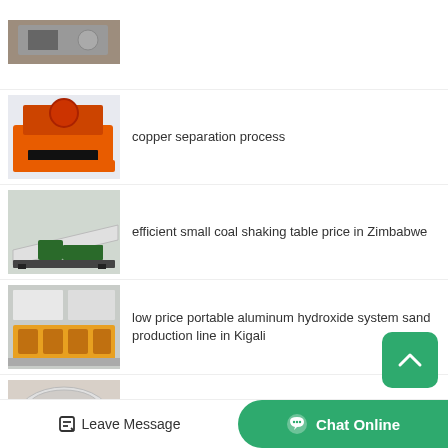[Figure (photo): Partial top thumbnail of industrial equipment]
[Figure (photo): Orange and black copper separation equipment]
copper separation process
[Figure (photo): White and green shaking table equipment]
efficient small coal shaking table price in Zimbabwe
[Figure (photo): Yellow portable aluminum hydroxide system machinery]
low price portable aluminum hydroxide system sand production line in Kigali
[Figure (photo): Industrial copper mine dryer machinery]
tangible benefits small copper mine industrial dryer for sale i...
Leave Message   Chat Online